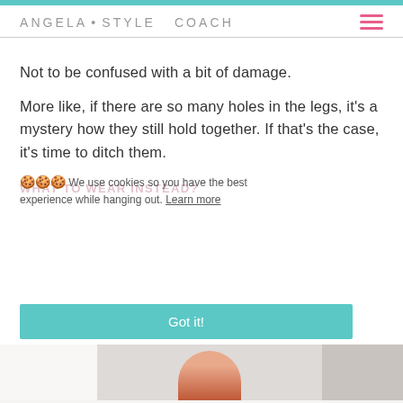ANGELA • STYLE COACH
Not to be confused with a bit of damage.
More like, if there are so many holes in the legs, it's a mystery how they still hold together. If that's the case, it's time to ditch them.
WHAT TO WEAR INSTEAD?
🍪🍪🍪 We use cookies so you have the best experience while hanging out. Learn more
[Figure (screenshot): Got it! button (teal/green) and partial fashion photo below]